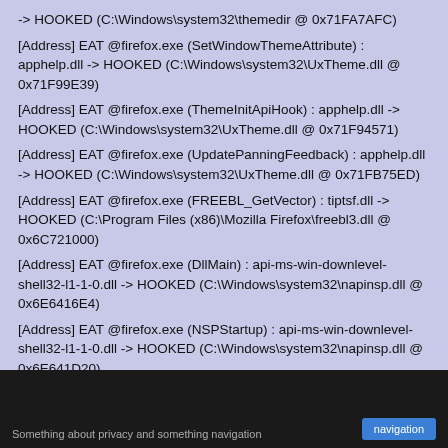-> HOOKED (C:\Windows\system32\themedir @ 0x71FA7AFC)
[Address] EAT @firefox.exe (SetWindowThemeAttribute) : apphelp.dll -> HOOKED (C:\Windows\system32\UxTheme.dll @ 0x71F99E39)
[Address] EAT @firefox.exe (ThemeInitApiHook) : apphelp.dll -> HOOKED (C:\Windows\system32\UxTheme.dll @ 0x71F94571)
[Address] EAT @firefox.exe (UpdatePanningFeedback) : apphelp.dll -> HOOKED (C:\Windows\system32\UxTheme.dll @ 0x71FB75ED)
[Address] EAT @firefox.exe (FREEBL_GetVector) : tiptsf.dll -> HOOKED (C:\Program Files (x86)\Mozilla Firefox\freebl3.dll @ 0x6C721000)
[Address] EAT @firefox.exe (DllMain) : api-ms-win-downlevel-shell32-l1-1-0.dll -> HOOKED (C:\Windows\system32\napinsp.dll @ 0x6E6416E4)
[Address] EAT @firefox.exe (NSPStartup) : api-ms-win-downlevel-shell32-l1-1-0.dll -> HOOKED (C:\Windows\system32\napinsp.dll @ 0x6E641D20)
Something about privacy and something navigation